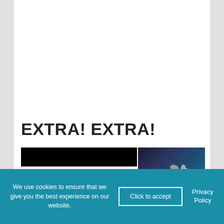EXTRA! EXTRA!
[Figure (screenshot): Troy Media community panel with logo on left and a person wearing a dark jacket with blue stripe holding wrenches on the right]
We use cookies to ensure that we give you the best experience on our website.
Click to accept
Privacy Policy